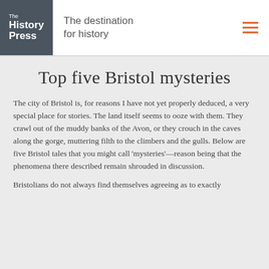The History Press — The destination for history
Top five Bristol mysteries
The city of Bristol is, for reasons I have not yet properly deduced, a very special place for stories. The land itself seems to ooze with them. They crawl out of the muddy banks of the Avon, or they crouch in the caves along the gorge, muttering filth to the climbers and the gulls. Below are five Bristol tales that you might call 'mysteries'—reason being that the phenomena there described remain shrouded in discussion.
Bristolians do not always find themselves agreeing as to exactly